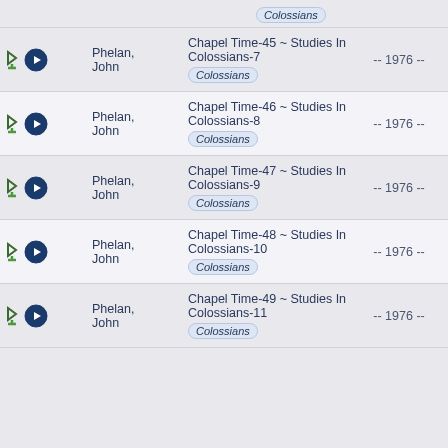| Icons | Speaker | Title/Tag | Year | Availability | Language |
| --- | --- | --- | --- | --- | --- |
| ↓ ▶ | Phelan, John | Chapel Time-45 ~ Studies In Colossians-7 [Colossians] | -- 1976 -- | unavailable | 🇬🇧 |
| ↓ ▶ | Phelan, John | Chapel Time-46 ~ Studies In Colossians-8 [Colossians] | -- 1976 -- | unavailable | 🇬🇧 |
| ↓ ▶ | Phelan, John | Chapel Time-47 ~ Studies In Colossians-9 [Colossians] | -- 1976 -- | unavailable | 🇬🇧 |
| ↓ ▶ | Phelan, John | Chapel Time-48 ~ Studies In Colossians-10 [Colossians] | -- 1976 -- | unavailable | 🇬🇧 |
| ↓ ▶ | Phelan, John | Chapel Time-49 ~ Studies In Colossians-11 [Colossians] | -- 1976 -- | unavailable | 🇬🇧 |